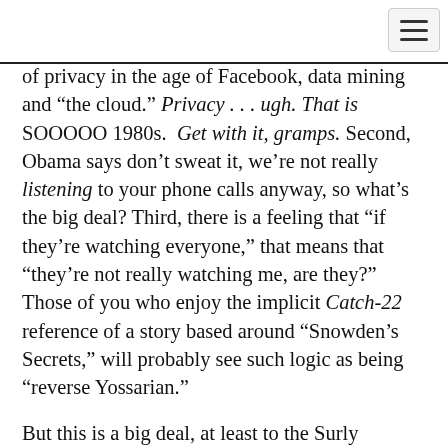[Figure (other): Hamburger menu icon button in top-right corner]
of privacy in the age of Facebook, data mining and “the cloud.” Privacy . . . ugh. That is SOOOOO 1980s. Get with it, gramps. Second, Obama says don’t sweat it, we’re not really listening to your phone calls anyway, so what’s the big deal? Third, there is a feeling that “if they’re watching everyone,” that means that “they’re not really watching me, are they?” Those of you who enjoy the implicit Catch-22 reference of a story based around “Snowden’s Secrets,” will probably see such logic as being “reverse Yossarian.”
But this is a big deal, at least to the Surly Bartender. So much so, that after growing bored with the way the story was being handled by the major media outlets in the States and Europe, I decided to distill some of the key elements into